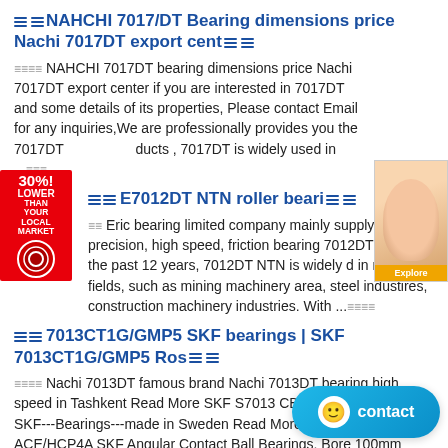≡≡NAHCHI 7017/DT Bearing dimensions price Nachi 7017DT export cent≡≡
≡≡≡≡ NAHCHI 7017DT bearing dimensions price Nachi 7017DT export center if you are interested in 7017DT and some details of its properties, Please contact Email for any inquiries,We are professionally provides you the 7017DT ducts , 7017DT is widely used in ...≡≡≡
≡≡E7012DT NTN roller beari≡≡
≡≡ Eric bearing limited company mainly supply high precision, high speed, friction bearing 7012DT NTN.In the past 12 years, 7012DT NTN is widely d in many fields, such as mining machinery area, steel industires, construction machinery industries. With ...≡≡≡≡
≡≡7013CT1G/GMP5 SKF bearings | SKF 7013CT1G/GMP5 Ros≡≡
≡≡≡≡ Nachi 7013DT famous brand Nachi 7013DT bearing high speed in Tashkent Read More SKF S7013 CB/P4A S7013 CB/P4A-SKF---Bearings---made in Sweden Read More SKF S7013 ACE/HCP4A SKF Angular Contact Ball Bearings, Bore 100mm S7013 ACE ...≡≡≡≡
≡≡NACHI 6817N (Belgium) | NACHI 6817N Bearing offsetrotarypress.com.≡≡
≡≡≡≡ NACHI 7013DT Bearing is one of our main products detailed information about NACHI 7013DT Bearing...